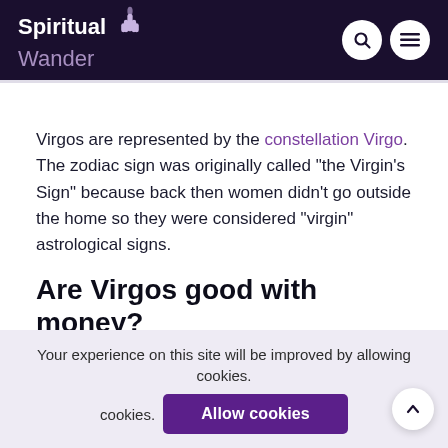Spiritual Wander
Virgos are represented by the constellation Virgo. The zodiac sign was originally called "the Virgin's Sign" because back then women didn't go outside the home so they were considered "virgin" astrological signs.
Are Virgos good with money?
Virgos have a natural tendency to be frugal with their money. They are diligent and realistic, so they
Your experience on this site will be improved by allowing cookies.